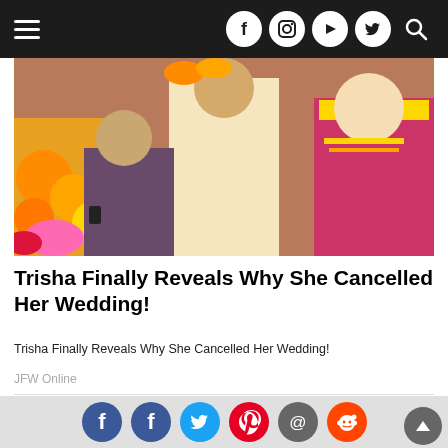Navigation bar with hamburger menu and social icons (Facebook, Instagram, YouTube, Twitter, Search)
[Figure (photo): Wedding photo showing people in traditional Indian attire with marigold flowers, a man in cream/gold kurta and a woman in pink/gold saree]
Trisha Finally Reveals Why She Cancelled Her Wedding!
Trisha Finally Reveals Why She Cancelled Her Wedding!
JFW Online
[Figure (photo): Two people at a desk with a weighing scale (justice scale) and a small plant]
Social sharing buttons: Facebook, Facebook, Twitter, Pinterest, Email, Reddit